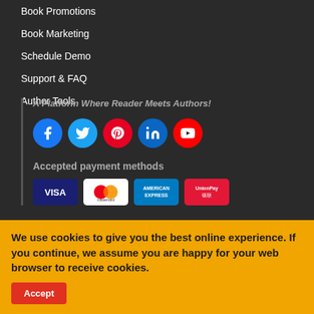Book Promotions
Book Marketing
Schedule Demo
Support & FAQ
Author Tools
A Platform Where Reader Meets Authors!
[Figure (illustration): Social media icons: Facebook, Twitter, Pinterest, LinkedIn, YouTube]
Accepted payment methods
[Figure (illustration): Payment method logos: Visa, Mastercard, American Express, UnionPay]
[Figure (logo): Crave Books logo with book icon and text 'Crave Books']
We use cookies to give you the best online experience. If you continue, we assume you are happy for your web browser to receive cookies.
Accept